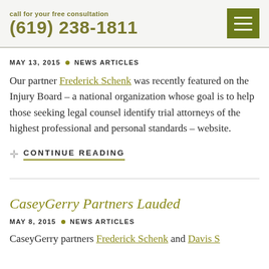call for your free consultation (619) 238-1811
MAY 13, 2015 • NEWS ARTICLES
Our partner Frederick Schenk was recently featured on the Injury Board – a national organization whose goal is to help those seeking legal counsel identify trial attorneys of the highest professional and personal standards – website.
CONTINUE READING
CaseyGerry Partners Lauded
MAY 8, 2015 • NEWS ARTICLES
CaseyGerry partners Frederick Schenk and Davis S…